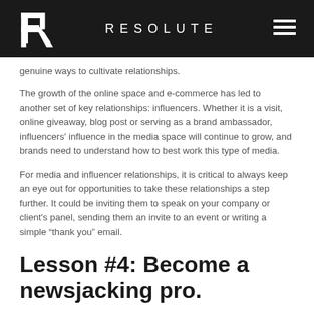RESOLUTE
genuine ways to cultivate relationships.
The growth of the online space and e-commerce has led to another set of key relationships: influencers. Whether it is a visit, online giveaway, blog post or serving as a brand ambassador, influencers' influence in the media space will continue to grow, and brands need to understand how to best work this type of media.
For media and influencer relationships, it is critical to always keep an eye out for opportunities to take these relationships a step further. It could be inviting them to speak on your company or client's panel, sending them an invite to an event or writing a simple “thank you” email.
Lesson #4: Become a newsjacking pro.
This last lesson is to always be a student of the news and